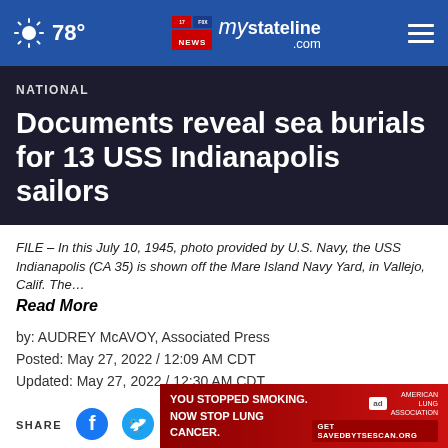78° mystateline.com NEWS
NATIONAL
Documents reveal sea burials for 13 USS Indianapolis sailors
FILE – In this July 10, 1945, photo provided by U.S. Navy, the USS Indianapolis (CA 35) is shown off the Mare Island Navy Yard, in Vallejo, Calif. The… Read More
by: AUDREY McAVOY, Associated Press
Posted: May 27, 2022 / 12:09 AM CDT
Updated: May 27, 2022 / 12:30 AM CDT
SHARE
[Figure (other): Advertisement banner: YOU STOPPED SMOKING. NOW STOP LUNG CANCER. American Lung Association. Get SAVEDBYTSESCAN.ORG]